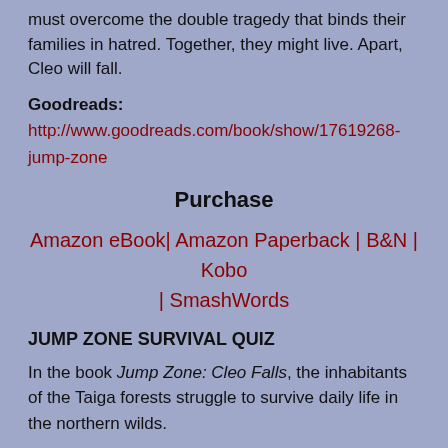must overcome the double tragedy that binds their families in hatred. Together, they might live. Apart, Cleo will fall.
Goodreads: http://www.goodreads.com/book/show/17619268-jump-zone
Purchase
Amazon eBook| Amazon Paperback | B&N | Kobo | SmashWords
JUMP ZONE SURVIVAL QUIZ
In the book Jump Zone: Cleo Falls, the inhabitants of the Taiga forests struggle to survive daily life in the northern wilds.